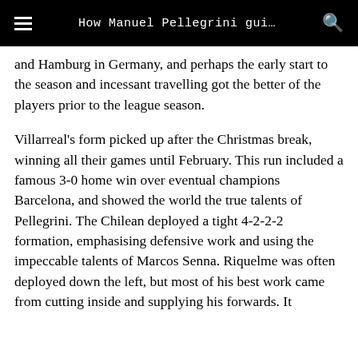How Manuel Pellegrini gui…
and Hamburg in Germany, and perhaps the early start to the season and incessant travelling got the better of the players prior to the league season.
Villarreal's form picked up after the Christmas break, winning all their games until February. This run included a famous 3-0 home win over eventual champions Barcelona, and showed the world the true talents of Pellegrini. The Chilean deployed a tight 4-2-2-2 formation, emphasising defensive work and using the impeccable talents of Marcos Senna. Riquelme was often deployed down the left, but most of his best work came from cutting inside and supplying his forwards. It